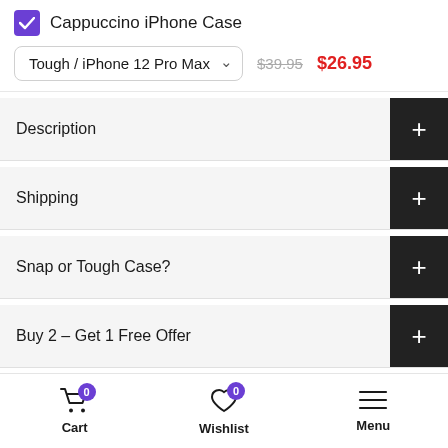Cappuccino iPhone Case
Tough / iPhone 12 Pro Max  $39.95 $26.95
Description
Shipping
Snap or Tough Case?
Buy 2 – Get 1 Free Offer
AirPods Gen 1 & 2
- 1 +  ADD TO CART
Cart 0  Wishlist 0  Menu